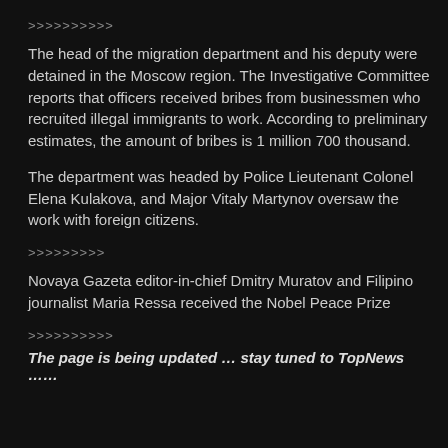>>>>>>>>>>
The head of the migration department and his deputy were detained in the Moscow region. The Investigative Committee reports that officers received bribes from businessmen who recruited illegal immigrants to work. According to preliminary estimates, the amount of bribes is 1 million 700 thousand.
The department was headed by Police Lieutenant Colonel Elena Kulakova, and Major Vitaly Martynov oversaw the work with foreign citizens.
>>>>>>>>>
Novaya Gazeta editor-in-chief Dmitry Muratov and Filipino journalist Maria Ressa received the Nobel Peace Prize
>>>>>>>>>>
The page is being updated … stay tuned to TopNews ……